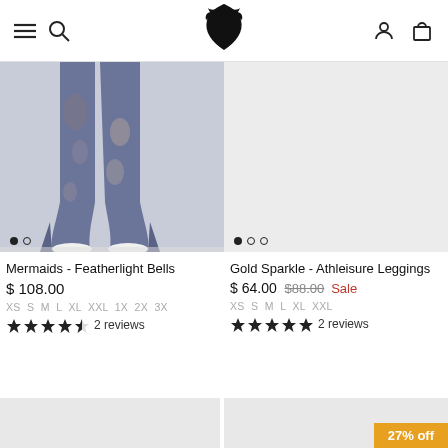Navigation header with hamburger menu, search, logo (bird/phoenix), user account, and cart icons
[Figure (photo): Close-up photo of flared pants with mermaid print in dark blue/grey, person wearing white sneakers]
[Figure (photo): Product image placeholder (light grey background) for Gold Sparkle Athleisure Leggings]
Mermaids - Featherlight Bells
$ 108.00
XS S M L XL XXL 1X 2X 3X
★★★★☆ 2 reviews
Gold Sparkle - Athleisure Leggings
$ 64.00 $88.00 Sale
XS S M L XL XXL
★★★★★ 2 reviews
[Figure (photo): Partial product thumbnail bottom left (grey background)]
[Figure (photo): Partial product thumbnail bottom right with 27% off badge]